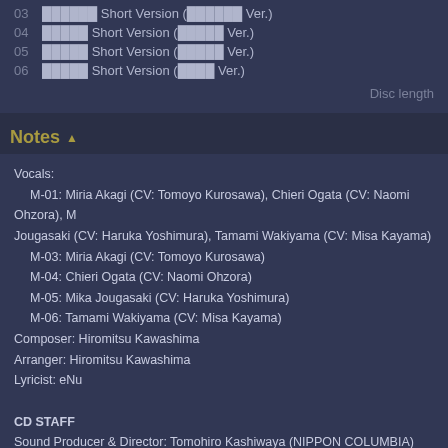03 ██████ Short Version (██████ Ver.)
04 █████ Short Version (█████ Ver.)
05 █████ Short Version (█████ Ver.)
06 █████ Short Version (████ Ver.)
Disc length
Notes ▲
Vocals:
  M-01: Miria Akagi (CV: Tomoyo Kurosawa), Chieri Ogata (CV: Naomi Ohzora), M Jougasaki (CV: Haruka Yoshimura), Tamami Wakiyama (CV: Misa Kayama)
  M-03: Miria Akagi (CV: Tomoyo Kurosawa)
  M-04: Chieri Ogata (CV: Naomi Ohzora)
  M-05: Mika Jougasaki (CV: Haruka Yoshimura)
  M-06: Tamami Wakiyama (CV: Misa Kayama)
Composer: Hiromitsu Kawashima
Arranger: Hiromitsu Kawashima
Lyricist: eNu

CD STAFF
Sound Producer & Director: Tomohiro Kashiwaya (NIPPON COLUMBIA)
Vocal Recording Engineer: Takayuki Noda, Taishi Watanabe
Mix Engineer: Kenichi Fukuhara (VERYGOO)
Mastering Engineer: Hiroshi Satow (NIPPON COLUMBIA)

Special Thanks to: Akihiro Ishihara, Yuma Takahashi, Yohei Shintaku, Haruka Soy Shirou Ogata, Chie Nakada, Getsui Ben, Kei Umeki, Mayuko Matsumoto, Haruki Katsumata, Saeko Imamura, ████, Yu Sato, AONI PRODUCTION, I'm Enterprise, M PROMOTION, Pro-Fit, StarJam Corporation, sunrise studio, VERYGOO, Cygames SAGAN DREAMS CO., LTD